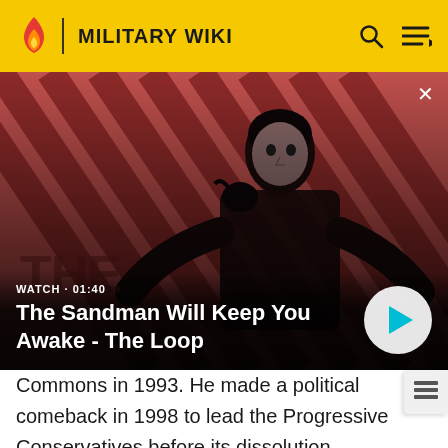MILITARY WIKI
[Figure (screenshot): Video thumbnail showing a person in dark clothing with a bird on their shoulder against a red and black diagonal striped background. Title reads 'The Sandman Will Keep You Awake - The Loop'. Watch duration shown as 01:40.]
Commons in 1993. He made a political comeback in 1998 to lead the Progressive Conservatives before its dissolution, serving his final term in Parliament from 20 to 2004. Clark today is recognized as a distinguished scholar and statesman, and serves as a university professor and as president of his own consulting firm